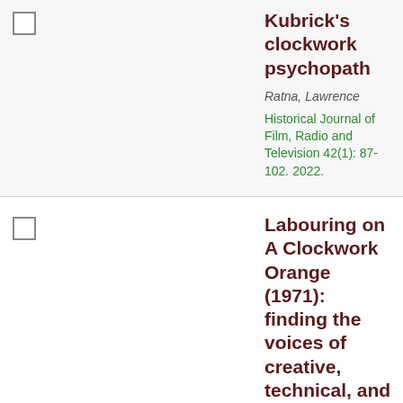Kubrick's clockwork psychopath
Ratna, Lawrence
Historical Journal of Film, Radio and Television 42(1): 87-102. 2022.
Labouring on A Clockwork Orange (1971): finding the voices of creative, technical, and administrative workers in the Stanley Kubrick Archive
Fenwick, James
Historical Journal of Film, Radio and Television 42(1):